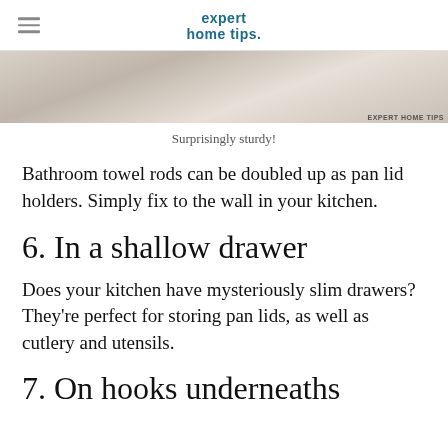expert home tips.
[Figure (photo): Close-up photo of a pan lid or kitchen utensil, beige/cream tones, with EXPERT HOME TIPS watermark in bottom right.]
Surprisingly sturdy!
Bathroom towel rods can be doubled up as pan lid holders. Simply fix to the wall in your kitchen.
6. In a shallow drawer
Does your kitchen have mysteriously slim drawers? They're perfect for storing pan lids, as well as cutlery and utensils.
7. On hooks underneath